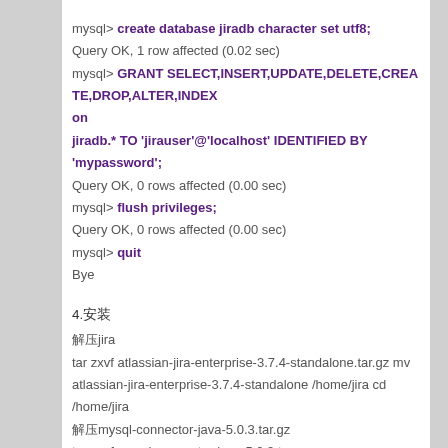mysql> create database jiradb character set utf8;
Query OK, 1 row affected (0.02 sec)
mysql> GRANT SELECT,INSERT,UPDATE,DELETE,CREATE,DROP,ALTER,INDEX on jiradb.* TO 'jirauser'@'localhost' IDENTIFIED BY 'mypassword';
Query OK, 0 rows affected (0.00 sec)
mysql> flush privileges;
Query OK, 0 rows affected (0.00 sec)
mysql> quit
Bye
4.安装
解压jira
tar zxvf atlassian-jira-enterprise-3.7.4-standalone.tar.gz
mv atlassian-jira-enterprise-3.7.4-standalone /home/jira
cd /home/jira
解压mysql-connector-java-5.0.3.tar.gz
tar zxvf mysql-connector-java-5.0.3.tar.gz